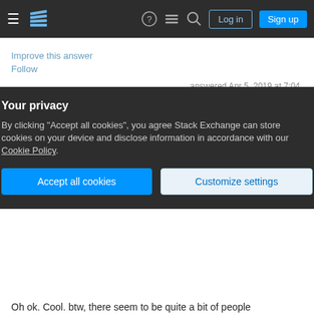Stack Exchange navigation bar with Log in and Sign up buttons
Improve this answer
Follow
answered Apr 5, 2019 at 7:04
David 1,040 ◆3 ◆13
Sorry David, but the blue light hype has been proven to be wrong by researchers. Periodic breaks by closing the eyes are indeed good...and getting 8 hours of uninterrupted sleep and a well balanced diet of properly cooked food is also necessary. I suffered and recovered from chronic eye strain. None of the
Your privacy
By clicking "Accept all cookies", you agree Stack Exchange can store cookies on your device and disclose information in accordance with our Cookie Policy.
Accept all cookies
Customize settings
Oh ok. Cool. btw, there seem to be quite a bit of people